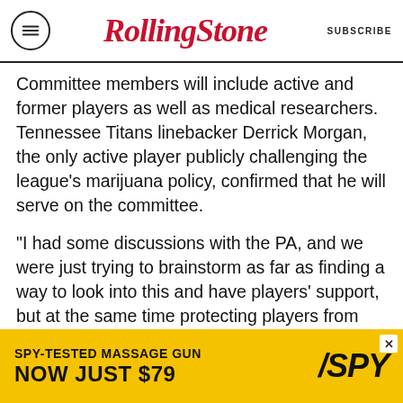RollingStone — SUBSCRIBE
Committee members will include active and former players as well as medical researchers. Tennessee Titans linebacker Derrick Morgan, the only active player publicly challenging the league's marijuana policy, confirmed that he will serve on the committee.
“I had some discussions with the PA, and we were just trying to brainstorm as far as finding a way to look into this and have players’ support, but at the same time protecting players from any negative backlash or anything,” Morgan said. “The idea came about of making a pain management committee for finding additional [pain relief]
[Figure (infographic): Advertisement banner: SPY-TESTED MASSAGE GUN NOW JUST $79 with SPY logo on yellow background]